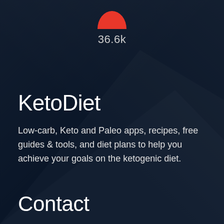[Figure (illustration): Red semi-circle/circle shape at top center, partially cropped, above the number 36.6k]
36.6k
KetoDiet
Low-carb, Keto and Paleo apps, recipes, free guides & tools, and diet plans to help you achieve your goals on the ketogenic diet.
Contact
Contact us
KetoDiet, PO BOX 2247, Wickford, SS11 9ED, UK